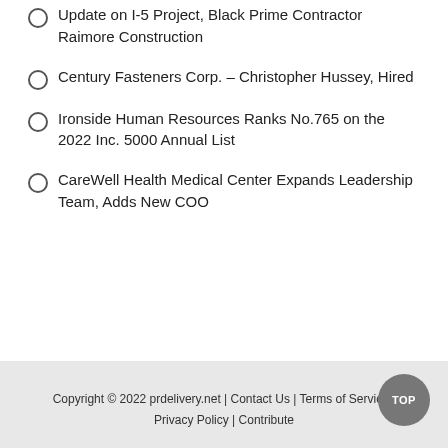Update on I-5 Project, Black Prime Contractor Raimore Construction
Century Fasteners Corp. – Christopher Hussey, Hired
Ironside Human Resources Ranks No.765 on the 2022 Inc. 5000 Annual List
CareWell Health Medical Center Expands Leadership Team, Adds New COO
Copyright © 2022 prdelivery.net | Contact Us | Terms of Service | Privacy Policy | Contribute